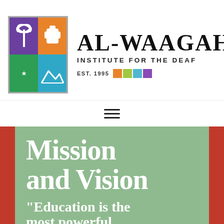[Figure (logo): Al-Waagah Institute for the Deaf logo — colorful four-quadrant grid icon (purple top-left with palm tree, orange top-right with hand sign, green bottom-left with crescent, blue bottom-right with mountains) alongside large bold 'AL-WAAGAH' wordmark, subtitle 'INSTITUTE FOR THE DEAF', and 'EST. 1995' with four color blocks.]
[Figure (screenshot): Hamburger menu icon (three horizontal lines) centered on white bar.]
Mission and Vision
"Education is the most powerful